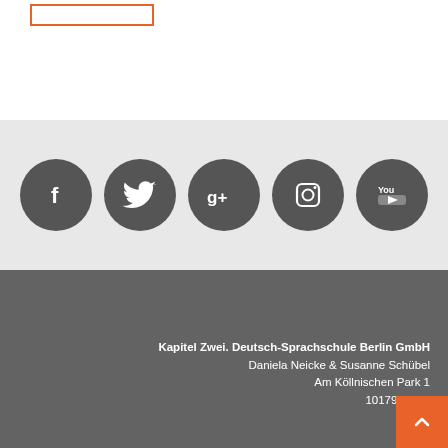[Figure (other): Orange outlined rectangular button/banner at top left]
[Figure (infographic): Row of five dark gray circular social media icons: Facebook (f), Twitter (bird), Google+ (g+), Instagram (camera), YouTube (You)]
Kapitel Zwei. Deutsch-Sprachschule Berlin GmbH
Daniela Neicke & Susanne Schübel
Am Köllnischen Park 1
10179 Berlin
[Figure (other): Orange square scroll-to-top button with upward chevron arrow at bottom right]